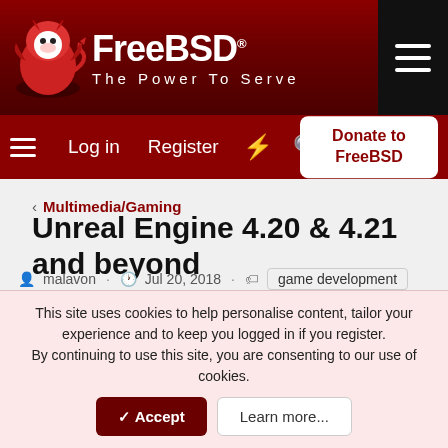[Figure (logo): FreeBSD logo with devil mascot and tagline 'The Power To Serve']
Log in  Register  Donate to FreeBSD
< Multimedia/Gaming
Unreal Engine 4.20 & 4.21 and beyond
malavon · Jul 20, 2018 · game development
game engine
games/gaming
ue4
unreal
unreal engine
◄◄  ◄ Prev  2 of 5  Next ►  ►►
Beastie7
This site uses cookies to help personalise content, tailor your experience and to keep you logged in if you register.
By continuing to use this site, you are consenting to our use of cookies.